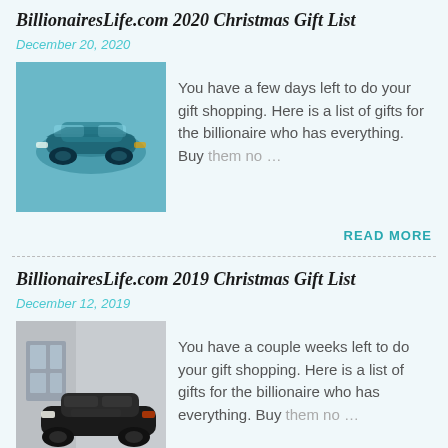BillionairesLife.com 2020 Christmas Gift List
December 20, 2020
[Figure (photo): Thumbnail photo of a blue/teal sports car, possibly underwater or in a special setting]
You have a few days left to do your gift shopping. Here is a list of gifts for the billionaire who has everything. Buy them no…
READ MORE
BillionairesLife.com 2019 Christmas Gift List
December 12, 2019
[Figure (photo): Thumbnail photo of a dark grey/black sports car parked in front of a building]
You have a couple weeks left to do your gift shopping. Here is a list of gifts for the billionaire who has everything. Buy them no…
READ MORE